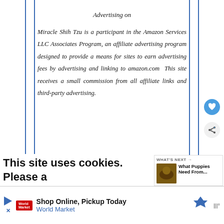Advertising on
Miracle Shih Tzu is a participant in the Amazon Services LLC Associates Program, an affiliate advertising program designed to provide a means for sites to earn advertising fees by advertising and linking to amazon.com  This site receives a small commission from all affiliate links and third-party advertising.
This site uses cookies. Please accept their use before continuing. Privacy Statement
[Figure (other): What's Next panel showing a dog photo thumbnail and text: What Puppies Need From...]
[Figure (other): Advertisement banner: Shop Online, Pickup Today - World Market with map pin icon and retailer logo]
[Figure (other): Heart/favorite button and share button (social action buttons) on right side]